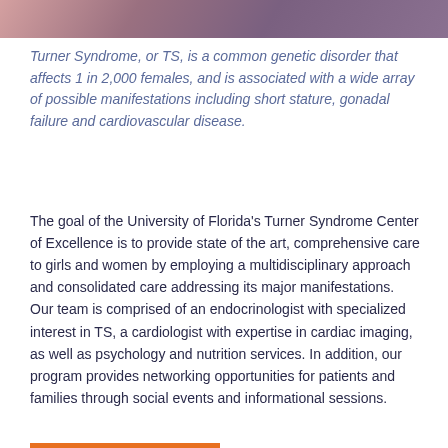[Figure (photo): Partial photo strip of two people at the top of the page]
Turner Syndrome, or TS, is a common genetic disorder that affects 1 in 2,000 females, and is associated with a wide array of possible manifestations including short stature, gonadal failure and cardiovascular disease.
The goal of the University of Florida’s Turner Syndrome Center of Excellence is to provide state of the art, comprehensive care to girls and women by employing a multidisciplinary approach and consolidated care addressing its major manifestations.  Our team is comprised of an endocrinologist with specialized interest in TS, a cardiologist with expertise in cardiac imaging, as well as psychology and nutrition services. In addition, our program provides networking opportunities for patients and families through social events and informational sessions.